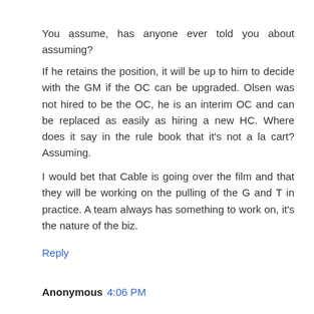You assume, has anyone ever told you about assuming?
If he retains the position, it will be up to him to decide with the GM if the OC can be upgraded. Olsen was not hired to be the OC, he is an interim OC and can be replaced as easily as hiring a new HC. Where does it say in the rule book that it's not a la cart? Assuming.
I would bet that Cable is going over the film and that they will be working on the pulling of the G and T in practice. A team always has something to work on, it's the nature of the biz.
Reply
Anonymous 4:06 PM